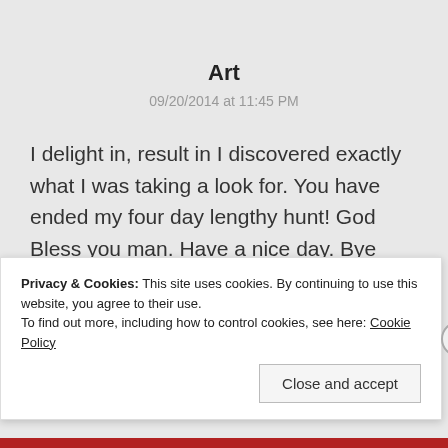Art
09/20/2014 at 11:45 PM
I delight in, result in I discovered exactly what I was taking a look for. You have ended my four day lengthy hunt! God Bless you man. Have a nice day. Bye
Privacy & Cookies: This site uses cookies. By continuing to use this website, you agree to their use.
To find out more, including how to control cookies, see here: Cookie Policy